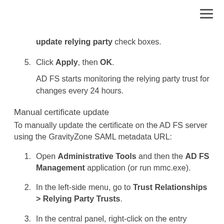update relying party check boxes.
5. Click Apply, then OK.
AD FS starts monitoring the relying party trust for changes every 24 hours.
Manual certificate update
To manually update the certificate on the AD FS server using the GravityZone SAML metadata URL:
1. Open Administrative Tools and then the AD FS Management application (or run mmc.exe).
2. In the left-side menu, go to Trust Relationships > Relying Party Trusts.
3. In the central panel, right-click on the entry corresponding to GravityZone